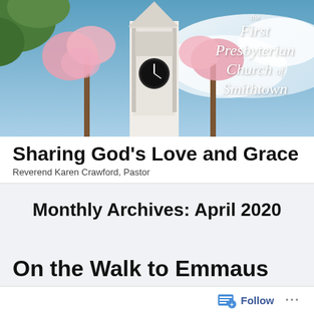[Figure (photo): Banner photo of a white church steeple with clock, surrounded by pink flowering trees against a blue sky, with the text 'the First Presbyterian Church of Smithtown' overlaid in italic serif font]
Sharing God's Love and Grace
Reverend Karen Crawford, Pastor
Monthly Archives: April 2020
On the Walk to Emmaus